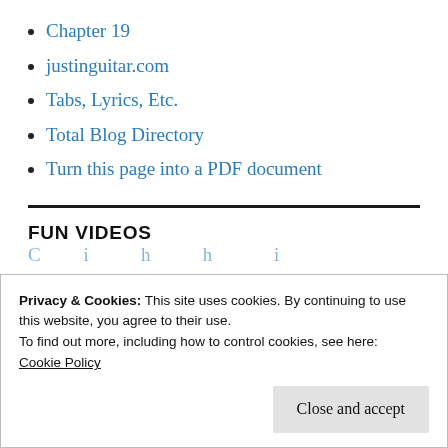Chapter 19
justinguitar.com
Tabs, Lyrics, Etc.
Total Blog Directory
Turn this page into a PDF document
FUN VIDEOS
Privacy & Cookies: This site uses cookies. By continuing to use this website, you agree to their use.
To find out more, including how to control cookies, see here:
Cookie Policy
Close and accept